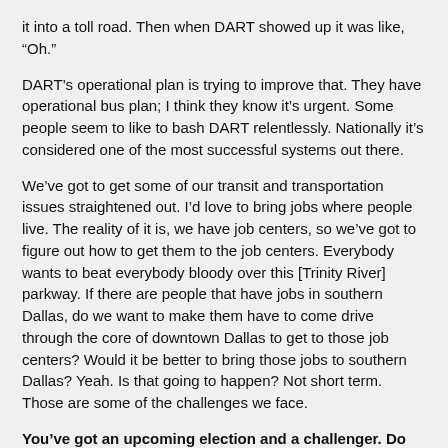it into a toll road. Then when DART showed up it was like, “Oh.”
DART’s operational plan is trying to improve that. They have operational bus plan; I think they know it’s urgent. Some people seem to like to bash DART relentlessly. Nationally it’s considered one of the most successful systems out there.
We’ve got to get some of our transit and transportation issues straightened out. I’d love to bring jobs where people live. The reality of it is, we have job centers, so we’ve got to figure out how to get them to the job centers. Everybody wants to beat everybody bloody over this [Trinity River] parkway. If there are people that have jobs in southern Dallas, do we want to make them have to come drive through the core of downtown Dallas to get to those job centers? Would it be better to bring those jobs to southern Dallas? Yeah. Is that going to happen? Not short term. Those are some of the challenges we face.
You’ve got an upcoming election and a challenger. Do you look forward to these?
There are definitely parts of a campaign that I like more than others. I actually like walking neighborhoods and knocking on doors. As a matter of fact, in previous campaigns, if I’d get grumpy or aggravated [doing]